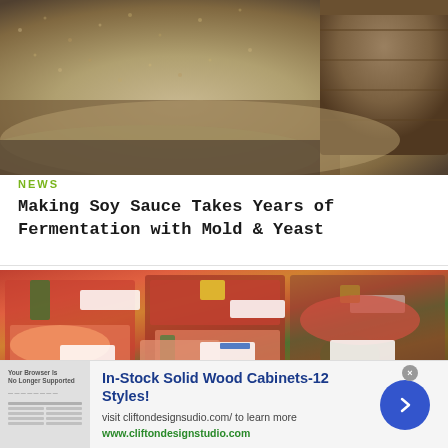[Figure (photo): Close-up photograph of grain/koji mold or fermentation ingredients, with a wooden bucket in the upper right corner. Sandy-brown textured surface filling the frame.]
NEWS
Making Soy Sauce Takes Years of Fermentation with Mold & Yeast
[Figure (photo): Photograph of packaged sashimi/sushi trays displayed at a Japanese fish market, with colorful fish slices (salmon, tuna, yellowtail) in plastic trays with price labels.]
[Figure (other): Advertisement banner: In-Stock Solid Wood Cabinets-12 Styles! visit cliftondesignsudio.com/ to learn more. www.cliftondesignstudio.com. Includes small cabinet thumbnail image and blue circular arrow button.]